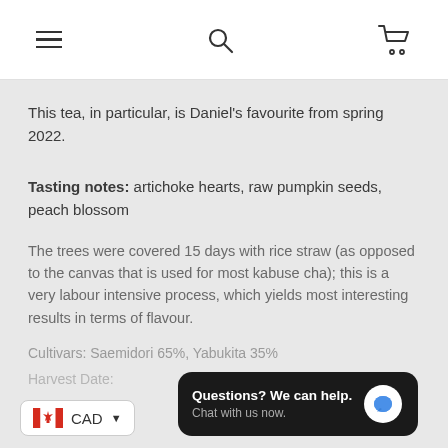Navigation bar with menu, search, and cart icons
This tea, in particular, is Daniel's favourite from spring 2022.
Tasting notes: artichoke hearts, raw pumpkin seeds, peach blossom
The trees were covered 15 days with rice straw (as opposed to the canvas that is used for most kabuse cha); this is a very labour intensive process, which yields most interesting results in terms of flavour.
Cultivars: Saemidori 65%, Yabukita 35%
Harvest Date:
CAD
Questions? We can help. Chat with us now.